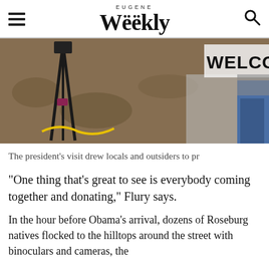Eugene Weekly
[Figure (photo): Outdoor scene showing camera tripod/equipment on gravel ground with a partial WELCOME sign and a person in jeans visible on the right side.]
The president's visit drew locals and outsiders to pr
“One thing that’s great to see is everybody coming together and donating,” Flury says.
In the hour before Obama’s arrival, dozens of Roseburg natives flocked to the hilltops around the street with binoculars and cameras, the